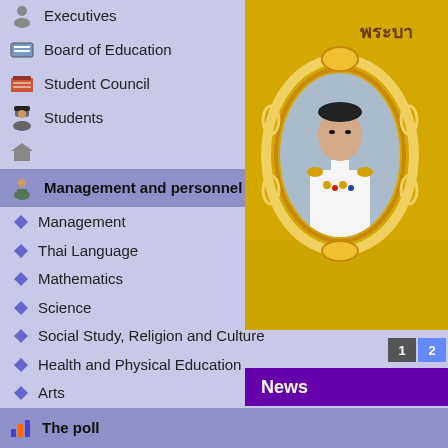Executives
Board of Education
Student Council
Students
Management and personnel
Management
Thai Language
Mathematics
Science
Social Study, Religion and Culture
Health and Physical Education
Arts
Career and Technology
Foreign Language
Preschool
Support
[Figure (photo): Portrait of Thai royal figure in ornate gold oval frame on yellow background with Thai text]
พระบา
News
The poll